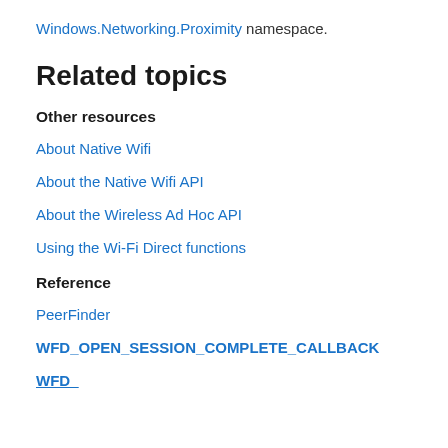Windows.Networking.Proximity namespace.
Related topics
Other resources
About Native Wifi
About the Native Wifi API
About the Wireless Ad Hoc API
Using the Wi-Fi Direct functions
Reference
PeerFinder
WFD_OPEN_SESSION_COMPLETE_CALLBACK
WFD_...